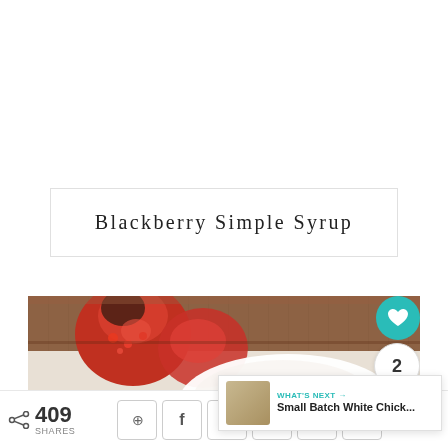Blackberry Simple Syrup
[Figure (photo): Close-up food photo showing sliced red pomegranate on a wooden board with a white plate containing a salad in the lower portion of the image]
WHAT'S NEXT → Small Batch White Chick...
409 SHARES